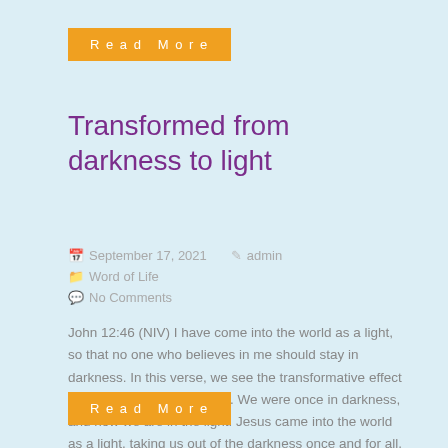Read More
Transformed from darkness to light
September 17, 2021   admin   Word of Life
No Comments
John 12:46 (NIV) I have come into the world as a light, so that no one who believes in me should stay in darkness. In this verse, we see the transformative effect of a relationship with Jesus. We were once in darkness, and now we are in the light. Jesus came into the world as a light, taking us out of the darkness once and for all. That darkness is both sin and a lack of knowledge about the Lord....
Read More